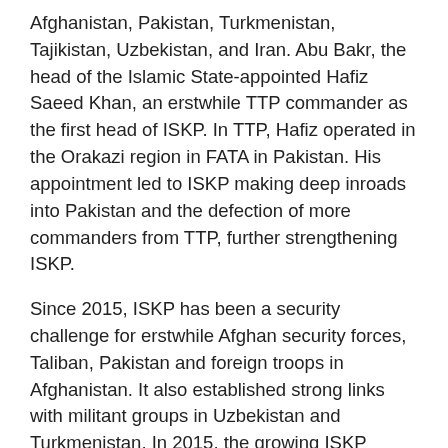Afghanistan, Pakistan, Turkmenistan, Tajikistan, Uzbekistan, and Iran. Abu Bakr, the head of the Islamic State-appointed Hafiz Saeed Khan, an erstwhile TTP commander as the first head of ISKP. In TTP, Hafiz operated in the Orakazi region in FATA in Pakistan. His appointment led to ISKP making deep inroads into Pakistan and the defection of more commanders from TTP, further strengthening ISKP.
Since 2015, ISKP has been a security challenge for erstwhile Afghan security forces, Taliban, Pakistan and foreign troops in Afghanistan. It also established strong links with militant groups in Uzbekistan and Turkmenistan. In 2015, the growing ISKP threat invited retaliation from Quetta Shura of the Taliban, which ordered its elite “Red Unit “commandos” to fight ISKP. Sustained action by Taliban resulted in the surrender of ISKP in 2018, in Jowjan province.
However, the relationship between the Taliban and ISKP have not been uniformly hostile. Elements of the Haqqani network, in sync with the Taliban, have coordinated with